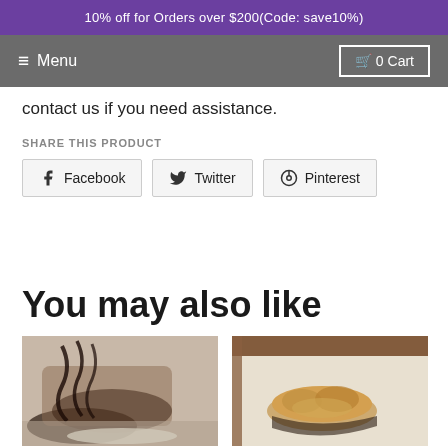10% off for Orders over $200(Code: save10%)
≡ Menu   🛒 0 Cart
contact us if you need assistance.
SHARE THIS PRODUCT
Facebook   Twitter   Pinterest
You may also like
[Figure (photo): Product thumbnail showing a shoe with black ruffled socks/anklet on a carpet background]
[Figure (photo): Product thumbnail showing fluffy/fur mule slippers on a light surface near a wooden frame]